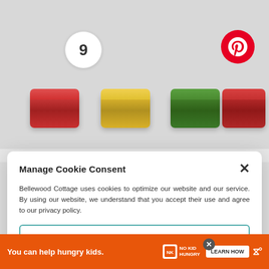[Figure (screenshot): Website screenshot showing a cookie consent modal dialog over a page about washi tape. The modal says 'Manage Cookie Consent' with ACCEPT button and Privacy Policy links. Behind it are colorful washi tape roll images. A Pinterest badge and number '9' badge appear at top. Side buttons for heart/share appear at right. A 'What's Next' panel shows 'Washi Tape Mason Jar G...' An orange ad bar at bottom reads 'You can help hungry kids.' with No Kid Hungry logo and Learn How button.]